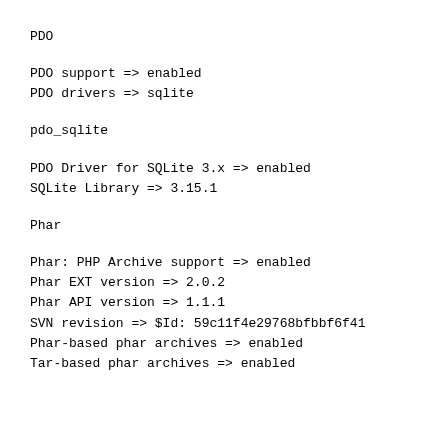PDO
PDO support => enabled
PDO drivers => sqlite
pdo_sqlite
PDO Driver for SQLite 3.x => enabled
SQLite Library => 3.15.1
Phar
Phar: PHP Archive support => enabled
Phar EXT version => 2.0.2
Phar API version => 1.1.1
SVN revision => $Id: 59c11f4e29768bfbbf6f41
Phar-based phar archives => enabled
Tar-based phar archives => enabled